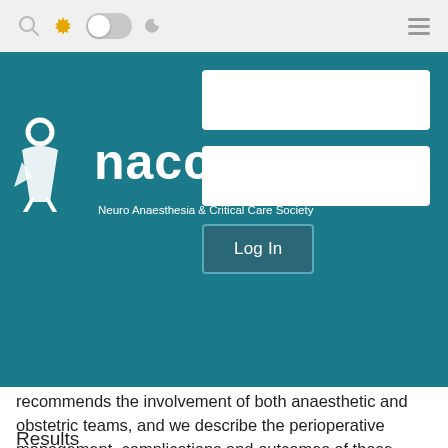[Figure (screenshot): Website top navigation bar with search icon, settings gear icon (yellow), toggle switch, moon icon, and hamburger menu icon on a light grey background.]
[Figure (logo): NACCS logo: white stylized figure icon followed by large white bold text 'naccs' and subtitle 'Neuro Anaesthesia & Critical Care Society' on teal background, with a login form overlay showing two white input fields and a 'Log In' button.]
recommends the involvement of both anaesthetic and obstetric teams, and we describe the perioperative management, complications and outcomes of those women undergoing neurosurgery.
Results